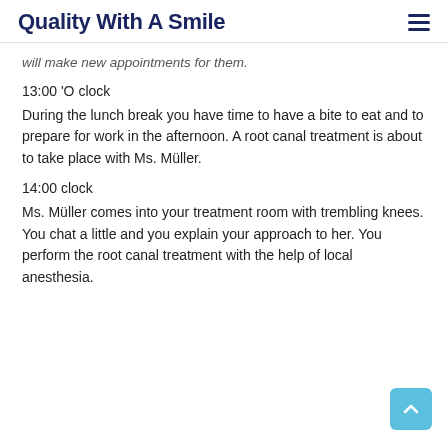Quality With A Smile
will make new appointments for them.
13:00 'O clock
During the lunch break you have time to have a bite to eat and to prepare for work in the afternoon. A root canal treatment is about to take place with Ms. Müller.
14:00 clock
Ms. Müller comes into your treatment room with trembling knees. You chat a little and you explain your approach to her. You perform the root canal treatment with the help of local anesthesia.